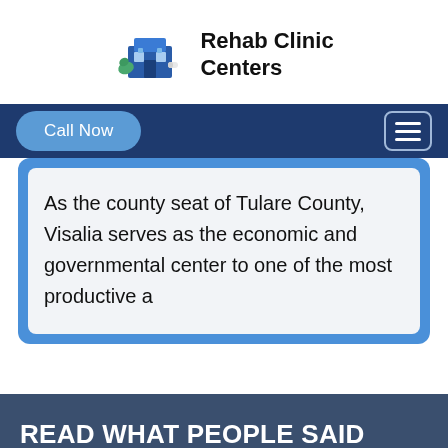[Figure (logo): Rehab Clinic Centers logo with illustrated building and medical cross icon in blue tones]
Rehab Clinic Centers
[Figure (screenshot): Navigation bar with dark navy background, 'Call Now' pill button in blue on the left, hamburger menu button on the right]
As the county seat of Tulare County, Visalia serves as the economic and governmental center to one of the most productive a
READ WHAT PEOPLE SAID ABOUT VISALIA REHABILITATION CENTER